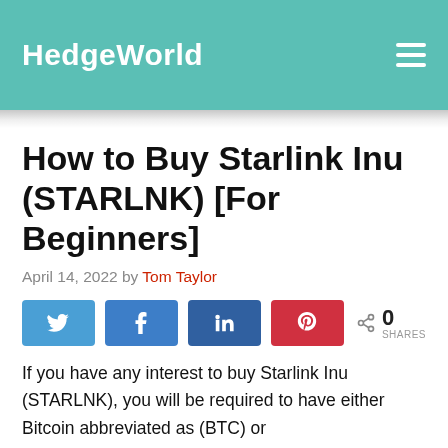HedgeWorld
How to Buy Starlink Inu (STARLNK) [For Beginners]
April 14, 2022 by Tom Taylor
[Figure (infographic): Social share buttons: Twitter, Facebook, LinkedIn, Pinterest, and a share count showing 0 SHARES]
If you have any interest to buy Starlink Inu (STARLNK), you will be required to have either Bitcoin abbreviated as (BTC) or